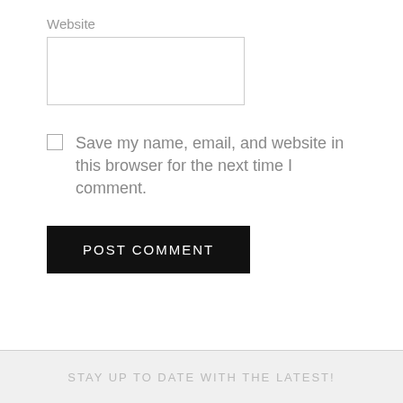Website
[Figure (other): Empty text input box for website URL]
[Figure (other): Unchecked checkbox]
Save my name, email, and website in this browser for the next time I comment.
POST COMMENT
STAY UP TO DATE WITH THE LATEST!